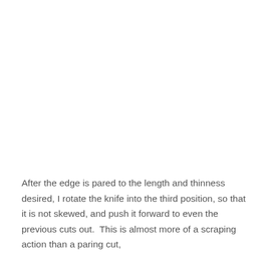After the edge is pared to the length and thinness desired, I rotate the knife into the third position, so that it is not skewed, and push it forward to even the previous cuts out. This is almost more of a scraping action than a paring cut,